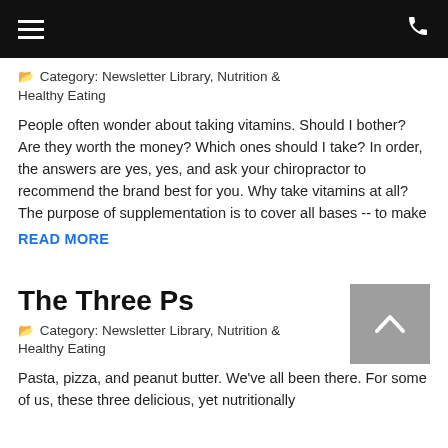Category: Newsletter Library, Nutrition & Healthy Eating
People often wonder about taking vitamins. Should I bother? Are they worth the money? Which ones should I take? In order, the answers are yes, yes, and ask your chiropractor to recommend the brand best for you. Why take vitamins at all? The purpose of supplementation is to cover all bases -- to make
READ MORE
The Three Ps
Category: Newsletter Library, Nutrition & Healthy Eating
Pasta, pizza, and peanut butter. We've all been there. For some of us, these three delicious, yet nutritionally limited...